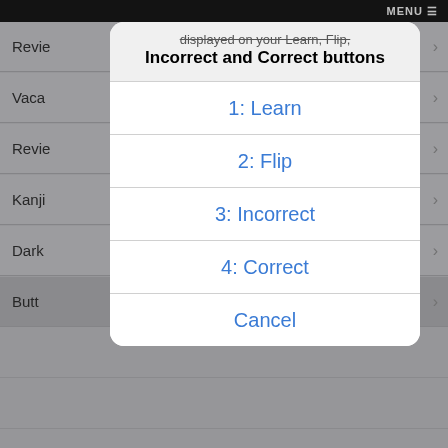[Figure (screenshot): iOS settings screen showing a modal action sheet with options: 1: Learn, 2: Flip, 3: Incorrect, 4: Correct, Cancel. Background shows settings rows for Review, Vacation, Review, Kanji, Dark, and Button settings.]
displayed on your Learn, Flip, Incorrect and Correct buttons
1: Learn
2: Flip
3: Incorrect
4: Correct
Cancel